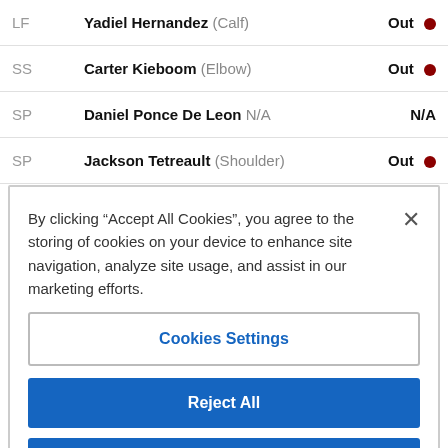| POS | PLAYER | STATUS |
| --- | --- | --- |
| LF | Yadiel Hernandez (Calf) | Out |
| SS | Carter Kieboom (Elbow) | Out |
| SP | Daniel Ponce De Leon N/A | N/A |
| SP | Jackson Tetreault (Shoulder) | Out |
By clicking “Accept All Cookies”, you agree to the storing of cookies on your device to enhance site navigation, analyze site usage, and assist in our marketing efforts.
Cookies Settings
Reject All
Accept All Cookies